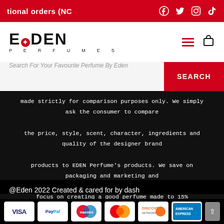tional orders (NC
[Figure (logo): Eden Perfumes logo with red maple leaf accent, PERFUMES text below]
Search For Your Favourite Perfume By Eden
made strictly for comparison purposes only. We simply ask the consumer to compare the price, style, scent, character, ingredients and quality of the designer brand products to EDEN Perfume's products. We save on packaging and marketing and focus on creating a good perfume made to 15% intensity. All our fragrances are Eau de Parfum and NOT Eau de toilette. This is a healthy swap.
@Eden 2022 Created & cared for by dash
[Figure (infographic): Payment method icons: Visa, PayPal, Maestro, Mastercard, Discover, American Express]